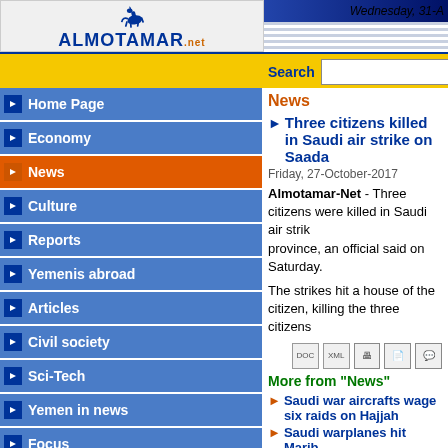[Figure (logo): Almotamar.net logo with blue rearing horse and text ALMOTAMAR net]
Wednesday, 31-A
Search
Home Page
Economy
News
Culture
Reports
Yemenis abroad
Articles
Civil society
Sci-Tech
Yemen in news
Focus
Entertainment
News
Three citizens killed in Saudi air strike on Saada
Friday, 27-October-2017
Almotamar-Net - Three citizens were killed in Saudi air strike on Saada province, an official said on Saturday.
The strikes hit a house of the citizen, killing the three citizens
More from "News"
Saudi war aircrafts wage six raids on Hajjah
Saudi warplanes hit Marib
Saudi aggression kills two in Sa'ada
Death toll from Saudi aggression airstrikes on hotel, ma
Saudi aggression warplanes destroyed gas station in An
Other titles:
News: 26 civilians killed, dozens injured in Saudi ai